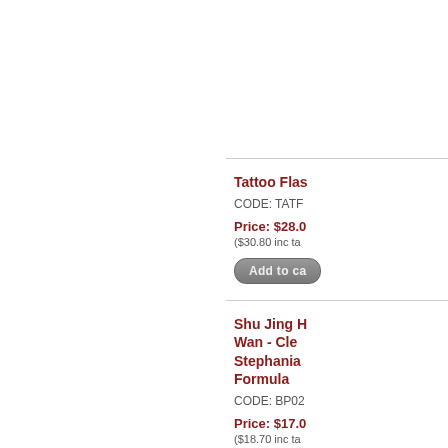Tattoo Fla...
CODE: TATF...
Price: $28.0...
($30.80 inc ta...
Shu Jing H... Wan - Cler... Stephania ... Formula
CODE: BP02...
Price: $17.0...
($18.70 inc ta...